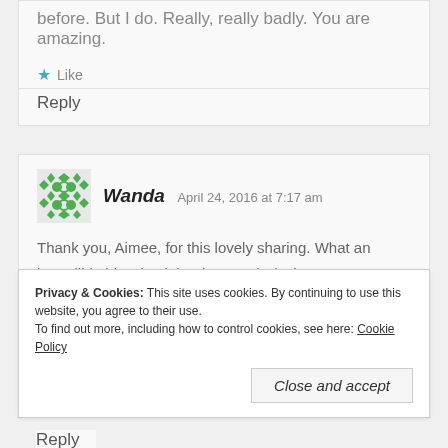before. But I do. Really, really badly. You are amazing.
★ Like
Reply
Wanda   April 24, 2016 at 7:17 am
Thank you, Aimee, for this lovely sharing. What an incredible blessing it is when God's loving presence enters into our lives so beautifully! It is a sweet grace to share the joy of such experiences together, and
Privacy & Cookies: This site uses cookies. By continuing to use this website, you agree to their use.
To find out more, including how to control cookies, see here: Cookie Policy
Close and accept
Reply